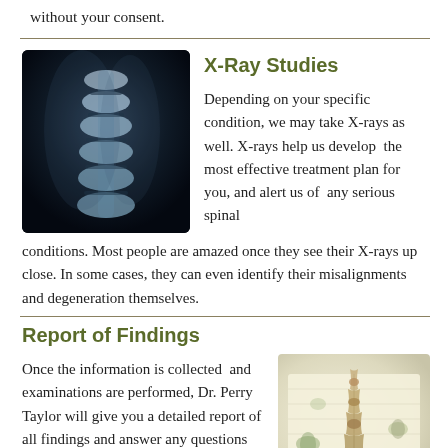without your consent.
X-Ray Studies
[Figure (photo): X-ray image of a human cervical spine (neck), dark background with bright vertebral structures visible]
Depending on your specific condition, we may take X-rays as well. X-rays help us develop the most effective treatment plan for you, and alert us of any serious spinal conditions. Most people are amazed once they see their X-rays up close. In some cases, they can even identify their misalignments and degeneration themselves.
Report of Findings
Once the information is collected and examinations are performed, Dr. Perry Taylor will give you a detailed report of all findings and answer any questions including:
[Figure (photo): Photo of a spine model/skeleton placed on an open book with butterfly illustrations]